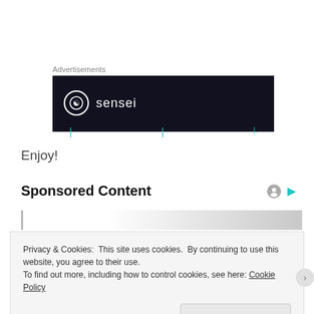Advertisements
[Figure (logo): Sensei brand advertisement banner with dark navy background, circular logo with tree icon, and 'sensei' text in white with teal accents at bottom]
Enjoy!
Sponsored Content
Privacy & Cookies: This site uses cookies. By continuing to use this website, you agree to their use. To find out more, including how to control cookies, see here: Cookie Policy
Close and accept